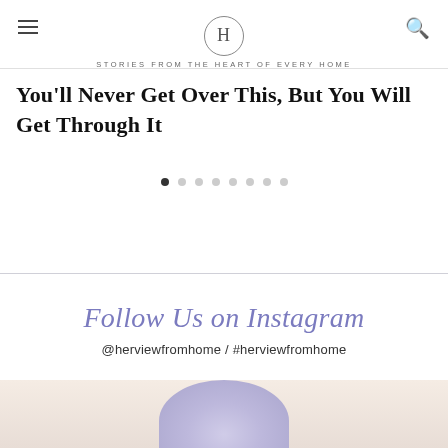H — STORIES FROM THE HEART OF EVERY HOME
You'll Never Get Over This, But You Will Get Through It
Follow Us on Instagram
@herviewfromhome / #herviewfromhome
[Figure (photo): Partial view of a person's upper body/head at the bottom of the page, Instagram photo strip]